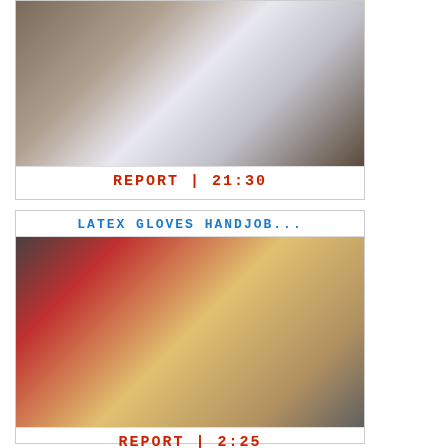[Figure (photo): Video thumbnail showing people in formal/wedding attire in a decorated room]
REPORT | 21:30
LATEX GLOVES HANDJOB...
[Figure (photo): Video thumbnail showing people in a room with a hospital-style bed, chair, and clothing rack]
REPORT | 2:25